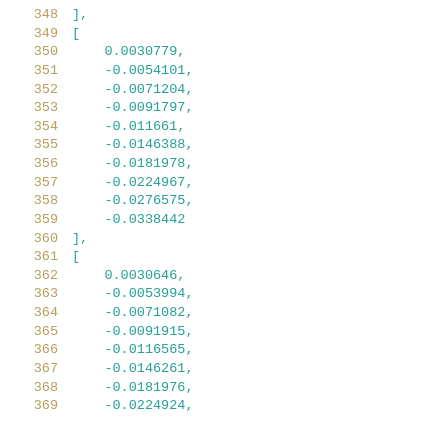348    ],
349    [
350        0.0030779,
351        -0.0054101,
352        -0.0071204,
353        -0.0091797,
354        -0.011661,
355        -0.0146388,
356        -0.0181978,
357        -0.0224967,
358        -0.0276575,
359        -0.0338442
360    ],
361    [
362        0.0030646,
363        -0.0053994,
364        -0.0071082,
365        -0.0091915,
366        -0.0116565,
367        -0.0146261,
368        -0.0181976,
369        -0.0224924,